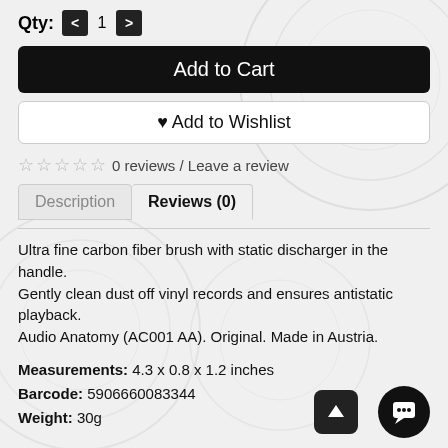Qty: < 1 >
Add to Cart
♥ Add to Wishlist
☆ ☆ ☆ ☆ ☆ 0 reviews / Leave a review
Description | Reviews (0)
Ultra fine carbon fiber brush with static discharger in the handle.
Gently clean dust off vinyl records and ensures antistatic playback.
Audio Anatomy (AC001 AA). Original. Made in Austria.
Measurements: 4.3 x 0.8 x 1.2 inches
Barcode: 5906660083344
Weight: 30g